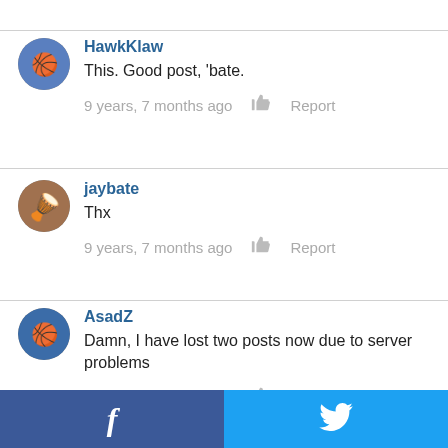HawkKlaw
This. Good post, 'bate.
9 years, 7 months ago   Report
jaybate
Thx
9 years, 7 months ago   Report
AsadZ
Damn, I have lost two posts now due to server problems
9 years, 7 months ago   Report
[Figure (other): Facebook and Twitter share buttons at page bottom]